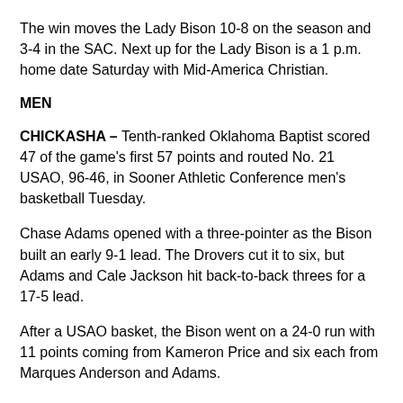The win moves the Lady Bison 10-8 on the season and 3-4 in the SAC. Next up for the Lady Bison is a 1 p.m. home date Saturday with Mid-America Christian.
MEN
CHICKASHA – Tenth-ranked Oklahoma Baptist scored 47 of the game's first 57 points and routed No. 21 USAO, 96-46, in Sooner Athletic Conference men's basketball Tuesday.
Chase Adams opened with a three-pointer as the Bison built an early 9-1 lead. The Drovers cut it to six, but Adams and Cale Jackson hit back-to-back threes for a 17-5 lead.
After a USAO basket, the Bison went on a 24-0 run with 11 points coming from Kameron Price and six each from Marques Anderson and Adams.
The half-ending run gave the Bison a 47-10 halftime lead. OBU shot 57 percent in the first half while holding the Drovers to 10 percent. OBU out-rebounded OBU 33-11 in the first half with Anderson grabbing a dozen in the first 20 minutes.
“I like to think a lot of that was us, but they missed some shots,”